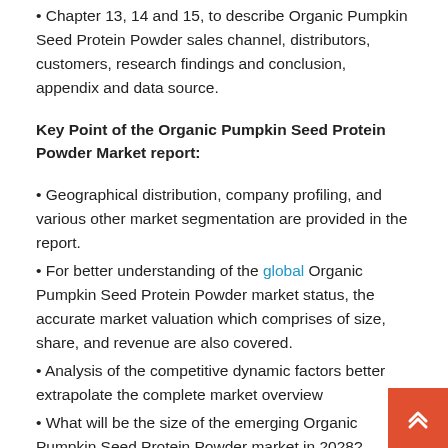• Chapter 13, 14 and 15, to describe Organic Pumpkin Seed Protein Powder sales channel, distributors, customers, research findings and conclusion, appendix and data source.
Key Point of the Organic Pumpkin Seed Protein Powder Market report:
• Geographical distribution, company profiling, and various other market segmentation are provided in the report.
• For better understanding of the global Organic Pumpkin Seed Protein Powder market status, the accurate market valuation which comprises of size, share, and revenue are also covered.
• Analysis of the competitive dynamic factors better extrapolate the complete market overview
• What will be the size of the emerging Organic Pumpkin Seed Protein Powder market in 2028?
• The latest trends, opportunities and challenges, and growth drivers provide better construal of the Organic Pumpkin Seed